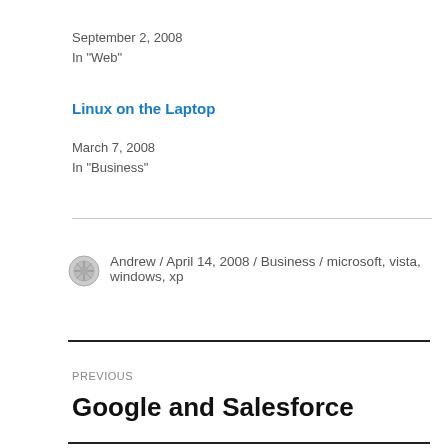September 2, 2008
In "Web"
Linux on the Laptop
March 7, 2008
In "Business"
Andrew / April 14, 2008 / Business / microsoft, vista, windows, xp
PREVIOUS
Google and Salesforce